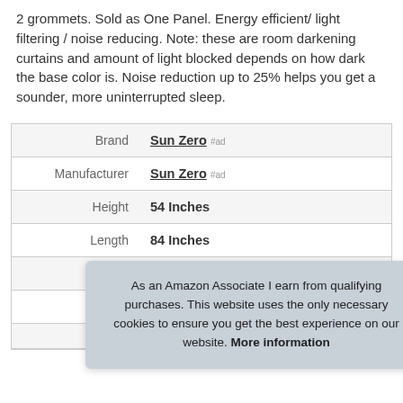2 grommets. Sold as One Panel. Energy efficient/ light filtering / noise reducing. Note: these are room darkening curtains and amount of light blocked depends on how dark the base color is. Noise reduction up to 25% helps you get a sounder, more uninterrupted sleep.
|  |  |
| --- | --- |
| Brand | Sun Zero #ad |
| Manufacturer | Sun Zero #ad |
| Height | 54 Inches |
| Length | 84 Inches |
| Weight | 1 Pounds |
| P |  |
As an Amazon Associate I earn from qualifying purchases. This website uses the only necessary cookies to ensure you get the best experience on our website. More information